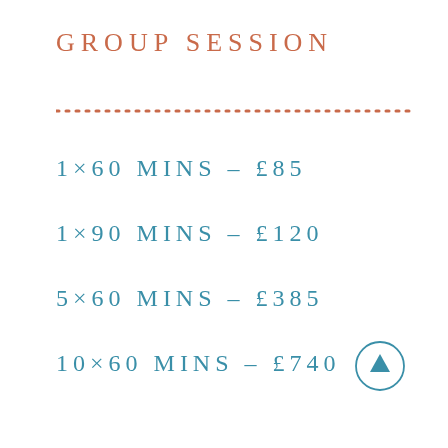GROUP SESSION
[Figure (other): Dotted horizontal line in salmon/orange color]
1×60 MINS – £85
1×90 MINS – £120
5×60 MINS – £385
10×60 MINS – £740
[Figure (other): Circular up-arrow button icon in teal color]